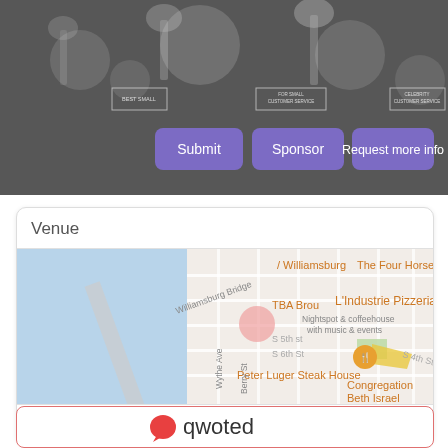[Figure (photo): Grayscale background photo of award trophies with bokeh lighting effects. Three purple rounded buttons overlay the image: Submit, Sponsor, Request more info.]
Venue
[Figure (map): Google Maps screenshot showing Williamsburg area of Brooklyn, NY. Shows Williamsburg Bridge, Peter Luger Steak House, L'Industrie Pizzeria, The Four Horsemen, Congregation Beth Israel, TBA Brooklyn venue marker, and surrounding streets (S 4th St, S 5th St, S 6th St, Berry St, Wythe Ave).]
TBA
[Figure (logo): Qwoted logo: red rounded speech bubble icon followed by the word 'qwoted' in dark gray text, inside a red-bordered rounded rectangle.]